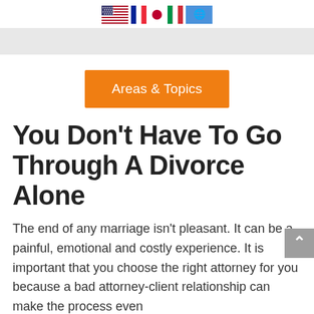[Figure (other): Row of country/organization flags: USA, France, Japan, Italy, United Nations]
[Figure (other): Gray navigation/menu bar]
[Figure (other): Orange button labeled 'Areas & Topics']
You Don't Have To Go Through A Divorce Alone
The end of any marriage isn't pleasant. It can be a painful, emotional and costly experience. It is important that you choose the right attorney for you because a bad attorney-client relationship can make the process even